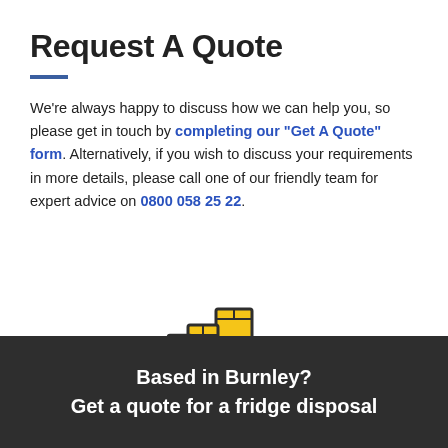Request A Quote
We’re always happy to discuss how we can help you, so please get in touch by completing our “Get A Quote” form. Alternatively, if you wish to discuss your requirements in more details, please call one of our friendly team for expert advice on 0800 058 25 22.
[Figure (illustration): Yellow delivery truck icon with boxes stacked on the back, drawn in a flat icon style with dark outlines]
Based in Burnley? Get a quote for a fridge disposal